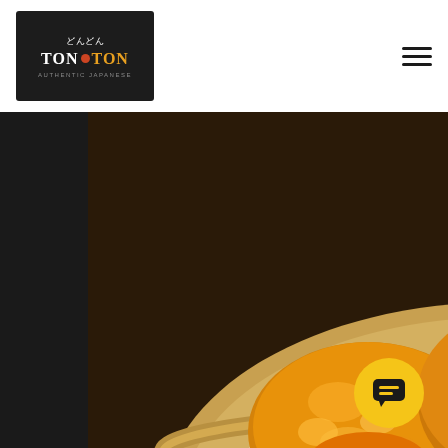[Figure (logo): Ton Ton restaurant logo: black background with Japanese characters, yellow/orange stylized text 'TON TON', red dot, subtitle 'Authentic Japanese']
[Figure (photo): Close-up photo of pumpkin katsu (breaded fried pumpkin cutlets) served in a bamboo basket with paper lining, golden-orange crispy coating, served with daikon radish]
Pumpkin katsu
4.00